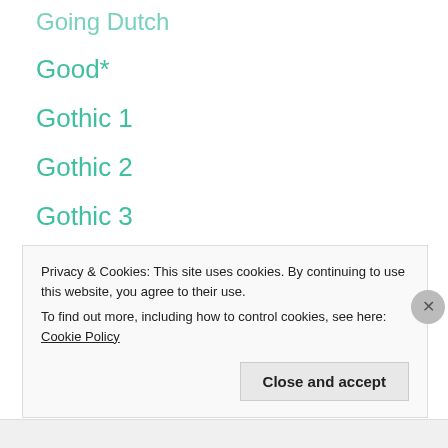Going Dutch
Good*
Gothic 1
Gothic 2
Gothic 3
Gothic 4
Privacy & Cookies: This site uses cookies. By continuing to use this website, you agree to their use.
To find out more, including how to control cookies, see here: Cookie Policy
Close and accept